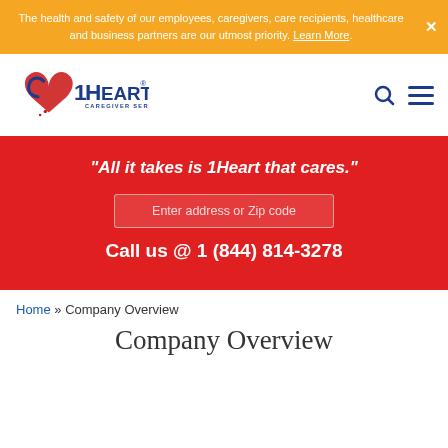The health and safety of our employees, caregivers, care recipients, healthcare and business partners are our utmost priority. Learn More.
[Figure (logo): 1Heart Caregiver Services logo with red heart and blue text]
“All it takes is 1Heart that cares.”
Enter address or Zip code
Call us @ 1 (844) 814-3278
Home » Company Overview
Company Overview